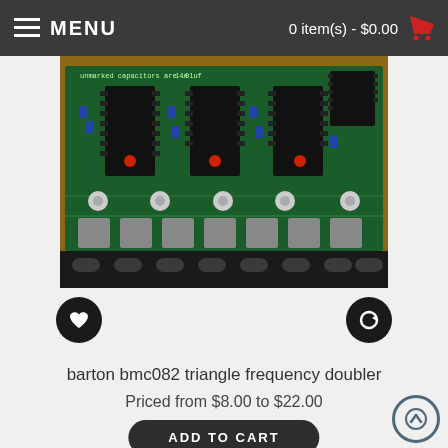MENU  |  0 item(s) - $0.00
[Figure (photo): Photo of a green PCB circuit board (barton bmc082 triangle frequency doubler) with multiple ICs, capacitors, resistors, and potentiometers, placed on a wooden surface. The board has a row of pots at the bottom.]
barton bmc082 triangle frequency doubler
Priced from $8.00 to $22.00
ADD TO CART